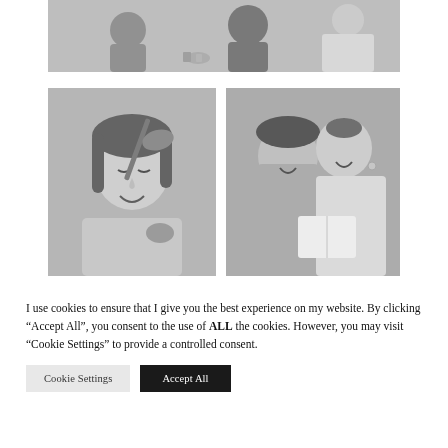[Figure (photo): Black and white photo of women getting ready, sitting on floor with makeup items scattered around]
[Figure (photo): Black and white photo of a woman getting makeup applied with a brush, smiling]
[Figure (photo): Black and white photo of two women smiling together, one holding a white gift box with hair clips]
I use cookies to ensure that I give you the best experience on my website. By clicking “Accept All”, you consent to the use of ALL the cookies. However, you may visit “Cookie Settings” to provide a controlled consent.
Cookie Settings
Accept All